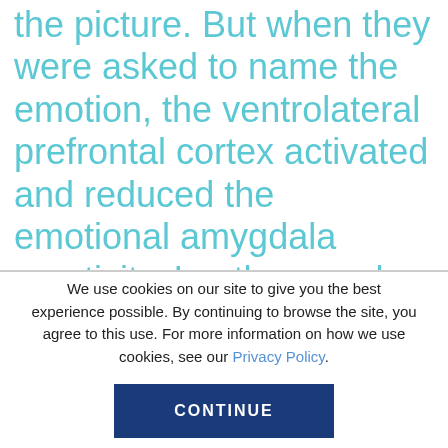the picture. But when they were asked to name the emotion, the ventrolateral prefrontal cortex activated and reduced the emotional amygdala reactivity. In other words, consciously recognizing the emotions reduced their impact.
We use cookies on our site to give you the best experience possible. By continuing to browse the site, you agree to this use. For more information on how we use cookies, see our Privacy Policy.
CONTINUE